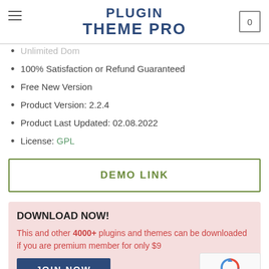PLUGIN THEME PRO
Unlimited Dom[ains]
100% Satisfaction or Refund Guaranteed
Free New Version
Product Version: 2.2.4
Product Last Updated: 02.08.2022
License: GPL
DEMO LINK
DOWNLOAD NOW!
This and other 4000+ plugins and themes can be downloaded if you are premium member for only $9...
JOIN NOW